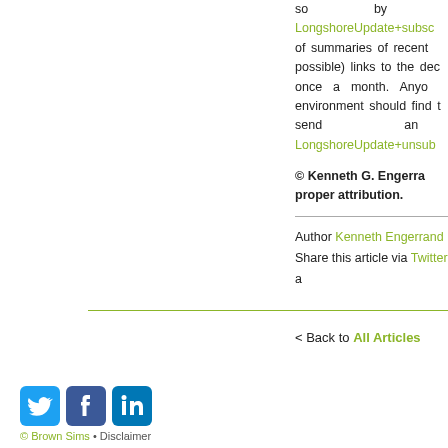so by sending LongshoreUpdate+subscribe of summaries of recent (with, where possible) links to the dec once a month. Anyone environment should find t send an LongshoreUpdate+unsub
© Kenneth G. Engerra proper attribution.
Author Kenneth Engerrand
Share this article via Twitter a
< Back to All Articles
[Figure (logo): Twitter, Facebook, and LinkedIn social media icons]
© Brown Sims • Disclaimer